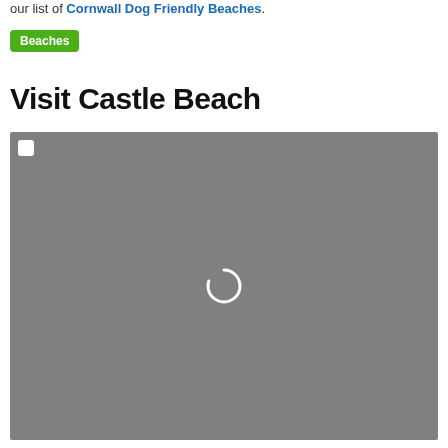our list of Cornwall Dog Friendly Beaches.
Beaches
Visit Castle Beach
[Figure (map): A grey loading map placeholder with a loading spinner in the center and a small white square icon in the top-left corner.]